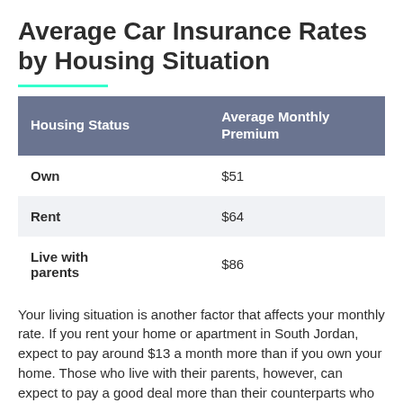Average Car Insurance Rates by Housing Situation
| Housing Status | Average Monthly Premium |
| --- | --- |
| Own | $51 |
| Rent | $64 |
| Live with parents | $86 |
Your living situation is another factor that affects your monthly rate. If you rent your home or apartment in South Jordan, expect to pay around $13 a month more than if you own your home. Those who live with their parents, however, can expect to pay a good deal more than their counterparts who rent or